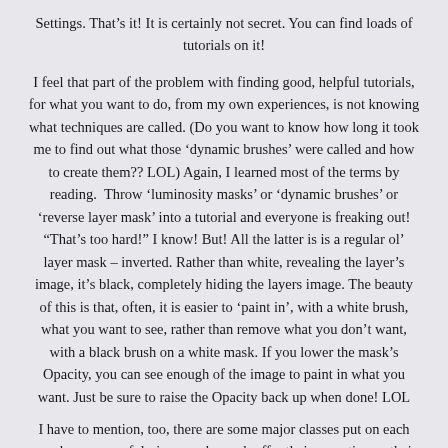Settings. That’s it! It is certainly not secret. You can find loads of tutorials on it!
I feel that part of the problem with finding good, helpful tutorials, for what you want to do, from my own experiences, is not knowing what techniques are called. (Do you want to know how long it took me to find out what those ‘dynamic brushes’ were called and how to create them?? LOL) Again, I learned most of the terms by reading.  Throw ‘luminosity masks’ or ‘dynamic brushes’ or ‘reverse layer mask’ into a tutorial and everyone is freaking out! “That’s too hard!” I know! But! All the latter is is a regular ol’ layer mask – inverted. Rather than white, revealing the layer’s image, it’s black, completely hiding the layers image. The beauty of this is that, often, it is easier to ‘paint in’, with a white brush, what you want to see, rather than remove what you don’t want, with a black brush on a white mask. If you lower the mask’s Opacity, you can see enough of the image to paint in what you want. Just be sure to raise the Opacity back up when done! LOL
I have to mention, too, there are some major classes put on each year by groups of designers who each offer their expertise on their given talent/feature, like real-life painting and ‘art journaling’, etc. Think ‘Photoshop World’ but a tutorial for image makers shortcomings. Actually